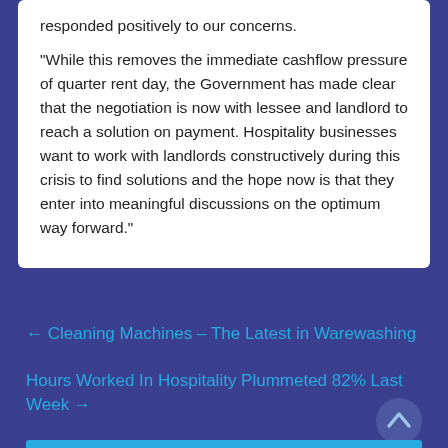responded positively to our concerns. “While this removes the immediate cashflow pressure of quarter rent day, the Government has made clear that the negotiation is now with lessee and landlord to reach a solution on payment. Hospitality businesses want to work with landlords constructively during this crisis to find solutions and the hope now is that they enter into meaningful discussions on the optimum way forward.”
← Cleaning Machines – The Latest in Warewashing
Hours Worked In Hospitality Plummeted 82% Last Week →